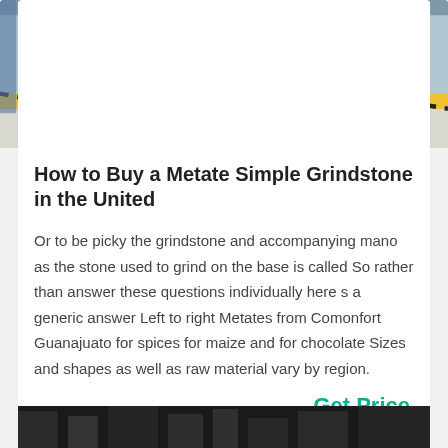[Figure (photo): Industrial machinery/grindstone facility interior, showing large grey cylindrical equipment, blue structural elements, and yellow-black safety markings on the floor.]
How to Buy a Metate Simple Grindstone in the United
Or to be picky the grindstone and accompanying mano as the stone used to grind on the base is called So rather than answer these questions individually here s a generic answer Left to right Metates from Comonfort Guanajuato for spices for maize and for chocolate Sizes and shapes as well as raw material vary by region.
Get Price
[Figure (photo): Dark industrial machinery or equipment, partially visible at the bottom of the page.]